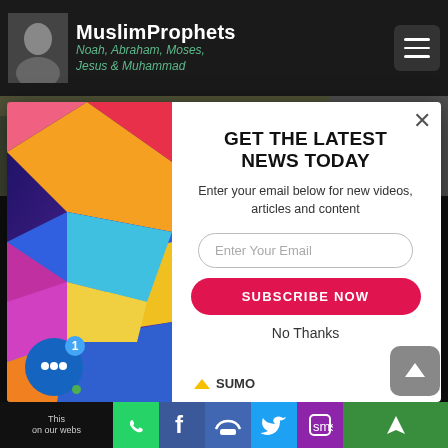MuslimProphets – Noah, Abraham, Moses, Jesus & Muhammad
[Figure (screenshot): Website screenshot with modal popup overlay. Header bar with MuslimProphets logo and navigation hamburger menu. Modal popup with colorful geometric graphic on the left and newsletter signup on right. Bottom social sharing bar.]
GET THE LATEST NEWS TODAY
Enter your email below for new videos, articles and content
Enter Your Email
SUBSCRIBE NOW
No Thanks